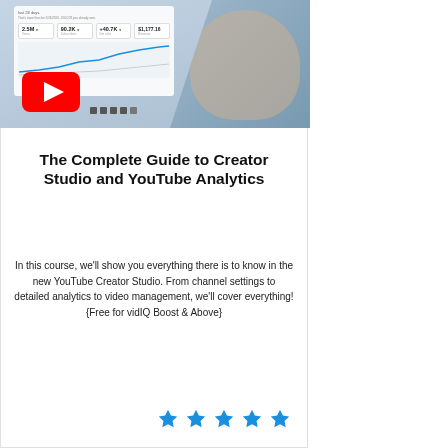[Figure (screenshot): YouTube thumbnail showing a man with a beard pointing at a screen displaying YouTube Creator Studio analytics (2.5M views, 90.2K subscribers, +40.7K, $1,177.16), with a YouTube play button logo in the lower left.]
The Complete Guide to Creator Studio and YouTube Analytics
In this course, we'll show you everything there is to know in the new YouTube Creator Studio. From channel settings to detailed analytics to video management, we'll cover everything! {Free for vidIQ Boost & Above}
[Figure (other): Five blue star rating icons]